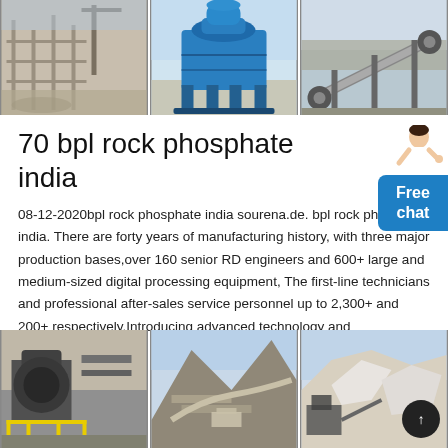[Figure (photo): Three industrial/mining machinery photos side by side at top: left shows scaffolding and industrial plant, center shows blue vertical shaft impact crusher machine, right shows conveyor belt equipment at a site.]
70 bpl rock phosphate india
08-12-2020bpl rock phosphate india sourena.de. bpl rock phosphate india. There are forty years of manufacturing history, with three major production bases,over 160 senior RD engineers and 600+ large and medium-sized digital processing equipment, The first-line technicians and professional after-sales service personnel up to 2,300+ and 200+ respectively.Introducing advanced technology and
[Figure (photo): Three industrial/mining site photos side by side at bottom: left shows mining machinery with yellow railings, center shows aerial view of mining/quarry hillside operation, right shows quarry with white rock and industrial equipment.]